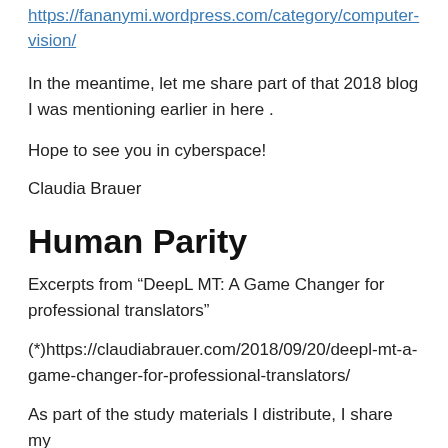https://fananymi.wordpress.com/category/computer-vision/
In the meantime, let me share part of that 2018 blog I was mentioning earlier in here .
Hope to see you in cyberspace!
Claudia Brauer
Human Parity
Excerpts from “DeepL MT: A Game Changer for professional translators”
(*)https://claudiabrauer.com/2018/09/20/deepl-mt-a-game-changer-for-professional-translators/
As part of the study materials I distribute, I share my